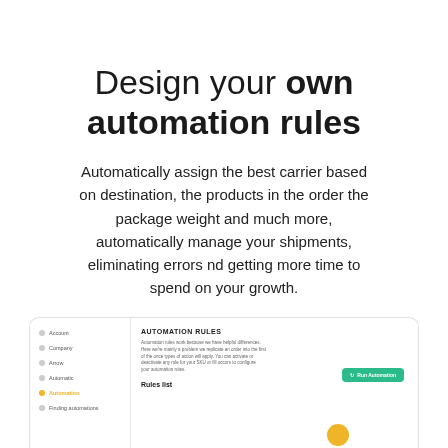Design your own automation rules
Automatically assign the best carrier based on destination, the products in the order the package weight and much more, automatically manage your shipments, eliminating errors nd getting more time to spend on your growth.
[Figure (screenshot): A partial UI screenshot showing an automation rules panel with a sidebar navigation (Account, Company, Arrow, Automatic, Automation, Finding automations) and main content area with 'AUTOMATION RULES' heading, descriptive text, a green 'Run Automation' button, 'Rules list' heading, and an orange circular element at the bottom.]